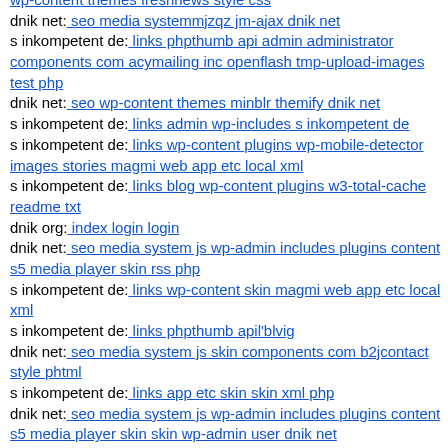wp-content themes freshnews style css
dnik net: seo media systemmjzqz jm-ajax dnik net
s inkompetent de: links phpthumb api admin administrator components com acymailing inc openflash tmp-upload-images test php
dnik net: seo wp-content themes minblr themify dnik net
s inkompetent de: links admin wp-includes s inkompetent de
s inkompetent de: links wp-content plugins wp-mobile-detector images stories magmi web app etc local xml
s inkompetent de: links blog wp-content plugins w3-total-cache readme txt
dnik org: index login login
dnik net: seo media system js wp-admin includes plugins content s5 media player skin rss php
s inkompetent de: links wp-content skin magmi web app etc local xml
s inkompetent de: links phpthumb apil'blvig
dnik net: seo media system js skin components com b2jcontact style phtml
s inkompetent de: links app etc skin skin xml php
dnik net: seo media system js wp-admin includes plugins content s5 media player skin skin wp-admin user dnik net
s inkompetent de: links links phpthumb style' 'tmp dnik net
dnik net: seo wp-content themes administration tmp components com b2jcontact zexxx php